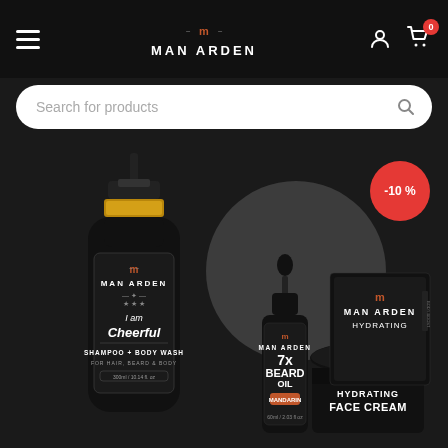Man Arden - Header navigation with hamburger menu, logo, user icon, cart icon with badge 0
Search for products
[Figure (photo): Man Arden product bundle showing three black-packaged grooming products: a 'I am Cheerful' Shampoo + Body Wash bottle, a 7x Beard Oil bottle with dropper (Mandarin), and a Hydrating Face Cream jar with its box. A -10% discount badge appears in the top right.]